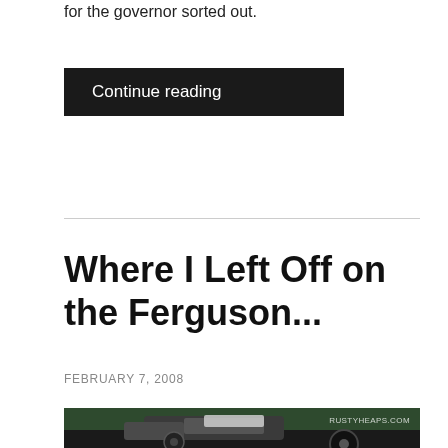for the governor sorted out.
Continue reading
Where I Left Off on the Ferguson...
FEBRUARY 7, 2008
[Figure (photo): A restored vintage Ferguson tractor photographed outdoors with trees and foliage in the background. The tractor's engine and front end are prominently visible along with large rear tires. A watermark reading RUSTYHEAPS.COM appears in the upper right corner.]